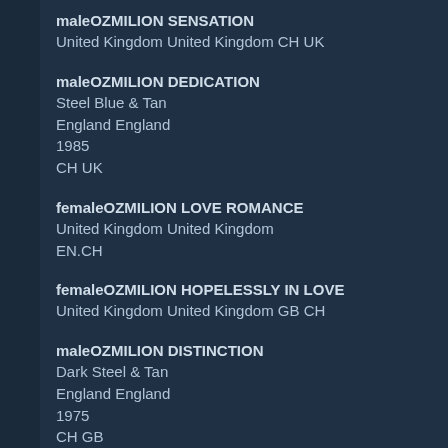maleOZMILION SENSATION
United Kingdom United Kingdom CH UK
maleOZMILION DEDICATION
Steel Blue & Tan
England England
1985
CH UK
femaleOZMILION LOVE ROMANCE
United Kingdom United Kingdom
EN.CH
femaleOZMILION HOPELESSLY IN LOVE
United Kingdom United Kingdom GB CH
maleOZMILION DISTINCTION
Dark Steel & Tan
England England
1975
CH GB
femaleOZMILION FLAMES OF DESIRE